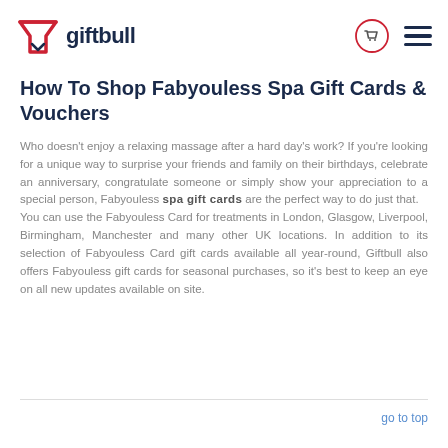giftbull
How To Shop Fabyouless Spa Gift Cards & Vouchers
Who doesn't enjoy a relaxing massage after a hard day's work? If you're looking for a unique way to surprise your friends and family on their birthdays, celebrate an anniversary, congratulate someone or simply show your appreciation to a special person, Fabyouless spa gift cards are the perfect way to do just that.
You can use the Fabyouless Card for treatments in London, Glasgow, Liverpool, Birmingham, Manchester and many other UK locations. In addition to its selection of Fabyouless Card gift cards available all year-round, Giftbull also offers Fabyouless gift cards for seasonal purchases, so it's best to keep an eye on all new updates available on site.
go to top